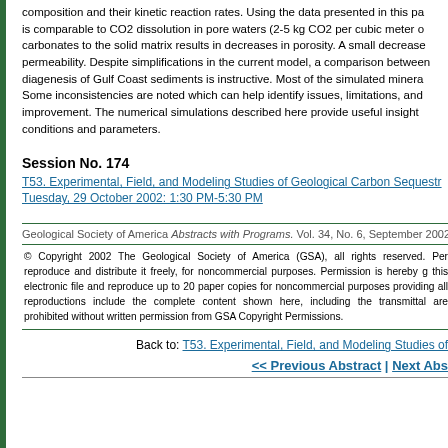composition and their kinetic reaction rates. Using the data presented in this pa is comparable to CO2 dissolution in pore waters (2-5 kg CO2 per cubic meter o carbonates to the solid matrix results in decreases in porosity. A small decrease permeability. Despite simplifications in the current model, a comparison between diagenesis of Gulf Coast sediments is instructive. Most of the simulated minera Some inconsistencies are noted which can help identify issues, limitations, and improvement. The numerical simulations described here provide useful insight conditions and parameters.
Session No. 174
T53. Experimental, Field, and Modeling Studies of Geological Carbon Sequestr Tuesday, 29 October 2002: 1:30 PM-5:30 PM
Geological Society of America Abstracts with Programs. Vol. 34, No. 6, September 2002
© Copyright 2002 The Geological Society of America (GSA), all rights reserved. Per reproduce and distribute it freely, for noncommercial purposes. Permission is hereby g this electronic file and reproduce up to 20 paper copies for noncommercial purposes providing all reproductions include the complete content shown here, including the transmittal are prohibited without written permission from GSA Copyright Permissions.
Back to: T53. Experimental, Field, and Modeling Studies of
<< Previous Abstract | Next Abs